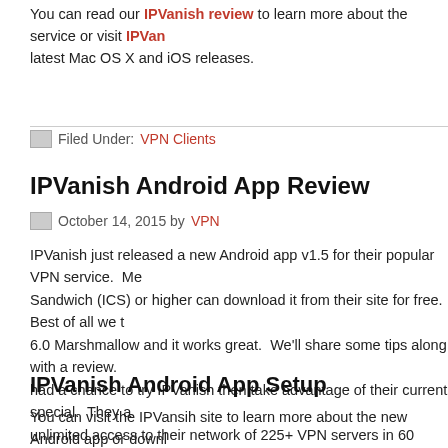You can read our IPVanish review to learn more about the service or visit IPVan... latest Mac OS X and iOS releases.
Filed Under: VPN Clients
IPVanish Android App Review
October 14, 2015 by VPN
IPVanish just released a new Android app v1.5 for their popular VPN service. Me... Sandwich (ICS) or higher can download it from their site for free. Best of all we t... 6.0 Marshmallow and it works great. We'll share some tips along with a review. ... had a chance to try IPVanish then take advantage of their current special. They a... unlimited access to their network of 225+ VPN servers in 60 countries from just $...
IPVanish Android App Setup
You can visit the IPVansih site to learn more about the new Android app or downl... When the client launches you'll have a chance to select a server. Before you con... ask you to enter your username / password. You can have it save your credentia...
App Usage and Performance
Let's take a look at the IPVanish Android app on an LG G4 running Android Mars...